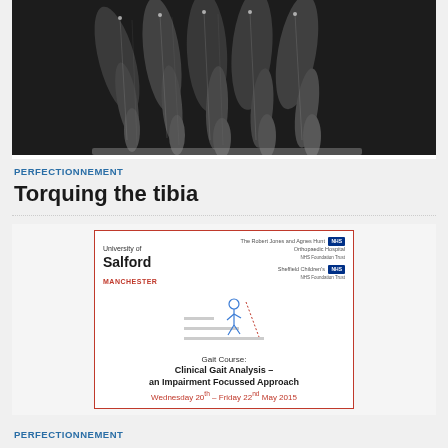[Figure (photo): Black and white photo of multiple exposure legs running or walking, showing motion blur of human gait in a sequence]
PERFECTIONNEMENT
Torquing the tibia
[Figure (other): Advertisement for Gait Course: Clinical Gait Analysis – an Impairment Focussed Approach, University of Salford Manchester, Wednesday 20th – Friday 22nd May 2015]
PERFECTIONNEMENT
Cours d'analyse de la marche (Université de Salford, UK)